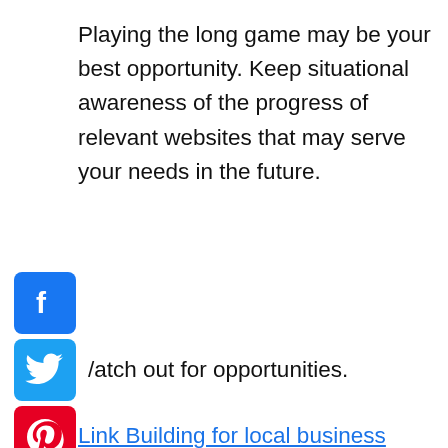Playing the long game may be your best opportunity. Keep situational awareness of the progress of relevant websites that may serve your needs in the future.
[Figure (logo): Facebook, Twitter, and Pinterest social media icon buttons stacked vertically on the left side]
Watch out for opportunities.
Link Building for local business
“It will be more fruitful to look for opportunities that present themselves than to actively seek out authority links for a new, unknown site.”